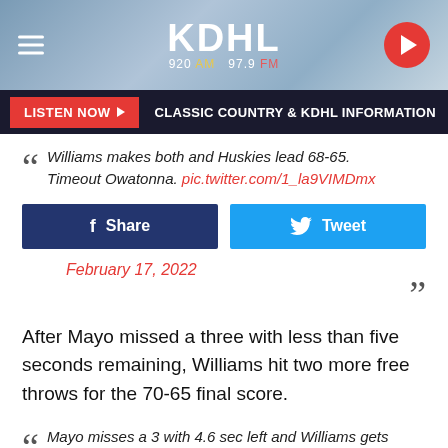[Figure (screenshot): KDHL 920 AM 97.9 FM radio station header banner with logo, hamburger menu, and play button]
LISTEN NOW ▶  CLASSIC COUNTRY & KDHL INFORMATION
Williams makes both and Huskies lead 68-65. Timeout Owatonna. pic.twitter.com/1_la9VIMDmx
Share  Tweet
February 17, 2022
After Mayo missed a three with less than five seconds remaining, Williams hit two more free throws for the 70-65 final score.
Mayo misses a 3 with 4.6 sec left and Williams gets fouled. Makes both and will seal victory for